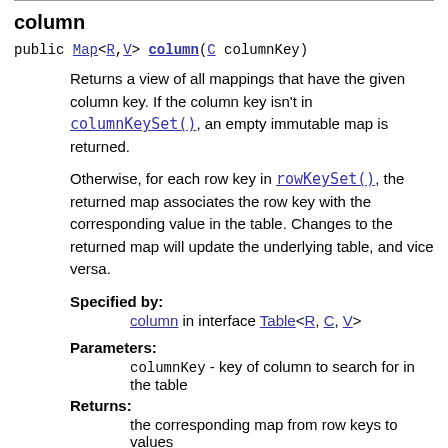column
public Map<R,V> column(C columnKey)
Returns a view of all mappings that have the given column key. If the column key isn't in columnKeySet(), an empty immutable map is returned.
Otherwise, for each row key in rowKeySet(), the returned map associates the row key with the corresponding value in the table. Changes to the returned map will update the underlying table, and vice versa.
Specified by:
column in interface Table<R,C,V>
Parameters:
columnKey - key of column to search for in the table
Returns:
the corresponding map from row keys to values
columnKeySet